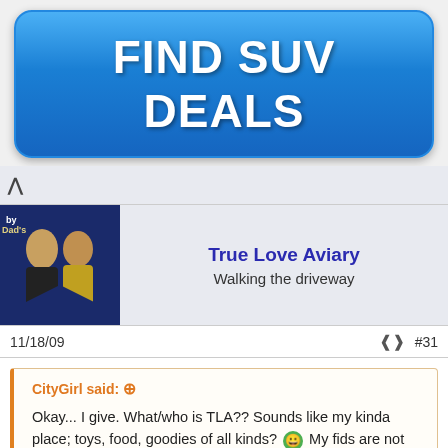[Figure (other): Blue rounded rectangle advertisement banner with white bold text reading FIND SUV DEALS]
[Figure (photo): Profile photo of two people, man and woman, against dark background]
True Love Aviary
Walking the driveway
11/18/09
#31
CityGirl said: ⊕
Okay... I give. What/who is TLA?? Sounds like my kinda place; toys, food, goodies of all kinds? 😀 My fids are not spoiled (well, maybe just a little!).
Thanks!
Who is TLA? It's Tamara and I from True Love Aviary! 😀 You don't
[Figure (other): LOL text in a box resembling a sticker/image]